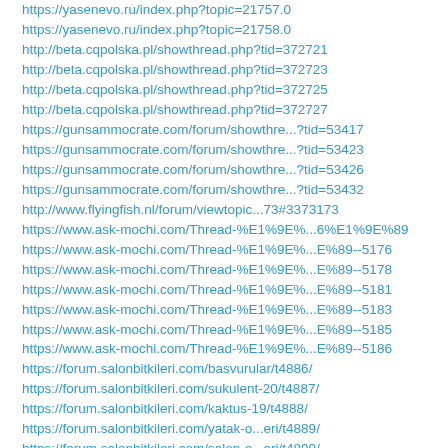https://yasenevo.ru/index.php?topic=21757.0
https://yasenevo.ru/index.php?topic=21758.0
http://beta.cqpolska.pl/showthread.php?tid=372721
http://beta.cqpolska.pl/showthread.php?tid=372723
http://beta.cqpolska.pl/showthread.php?tid=372725
http://beta.cqpolska.pl/showthread.php?tid=372727
https://gunsammocrate.com/forum/showthre...?tid=53417
https://gunsammocrate.com/forum/showthre...?tid=53423
https://gunsammocrate.com/forum/showthre...?tid=53426
https://gunsammocrate.com/forum/showthre...?tid=53432
http://www.flyingfish.nl/forum/viewtopic...73#3373173
https://www.ask-mochi.com/Thread-%E1%9E%...6%E1%9E%89
https://www.ask-mochi.com/Thread-%E1%9E%...E%89--5176
https://www.ask-mochi.com/Thread-%E1%9E%...E%89--5178
https://www.ask-mochi.com/Thread-%E1%9E%...E%89--5181
https://www.ask-mochi.com/Thread-%E1%9E%...E%89--5183
https://www.ask-mochi.com/Thread-%E1%9E%...E%89--5185
https://www.ask-mochi.com/Thread-%E1%9E%...E%89--5186
https://forum.salonbitkileri.com/basvurular/t4886/
https://forum.salonbitkileri.com/sukulent-20/t4887/
https://forum.salonbitkileri.com/kaktus-19/t4888/
https://forum.salonbitkileri.com/yatak-o...eri/t4889/
https://forum.salonbitkileri.com/salon-o...eri/t4890/